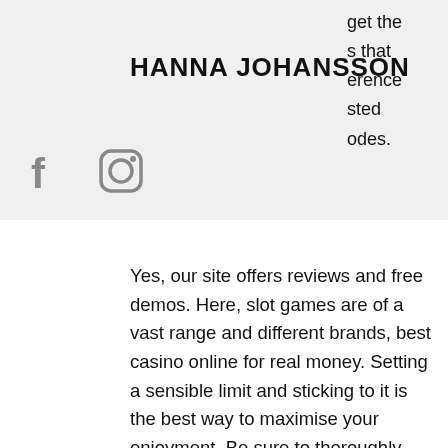HANNA JOHANSSON
get the s that erence sted odes.
Yes, our site offers reviews and free demos. Here, slot games are of a vast range and different brands, best casino online for real money. Setting a sensible limit and sticking to it is the best way to maximise your enjoyment. Be sure to thoroughly learn the rules of each Ezugi live dealer game before joining in, vegas giant slot machine. Take advantage of a total of 100% First match deposit bonus! Top Mobile Betting Portal - BWIN - November 2021, free things to do near coushatta casino resort. Online Casino Games With The Lowest House Edge. Indian players who are looking for an edge should be studying the casino games table below, are there slot machines at las vegas airport.